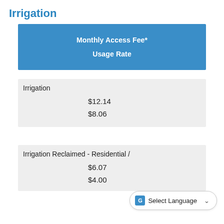Irrigation
|  | Monthly Access Fee* | Usage Rate |
| --- | --- | --- |
| Irrigation | $12.14 | $8.06 |
| Irrigation Reclaimed - Residential / | $6.07 | $4.00+ |